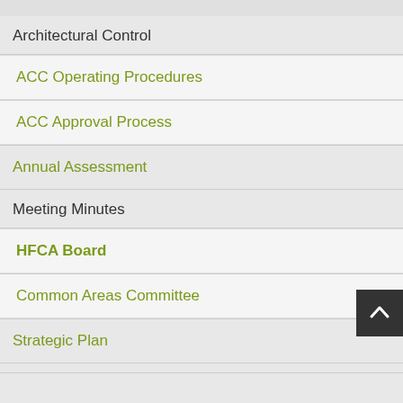Architectural Control
ACC Operating Procedures
ACC Approval Process
Annual Assessment
Meeting Minutes
HFCA Board
Common Areas Committee
Strategic Plan